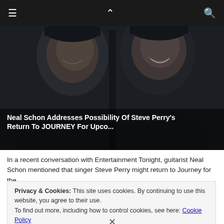≡  ∧  🔍
[Figure (photo): Two people smiling and laughing, wearing dark clothing, photographed at a dark event venue. Image is in dark tones.]
Neal Schon Addresses Possibility Of Steve Perry's Return To JOURNEY For Upco...
In a recent conversation with Entertainment Tonight, guitarist Neal Schon mentioned that singer Steve Perry might return to Journey for the
Privacy & Cookies: This site uses cookies. By continuing to use this website, you agree to their use.
To find out more, including how to control cookies, see here: Cookie Policy